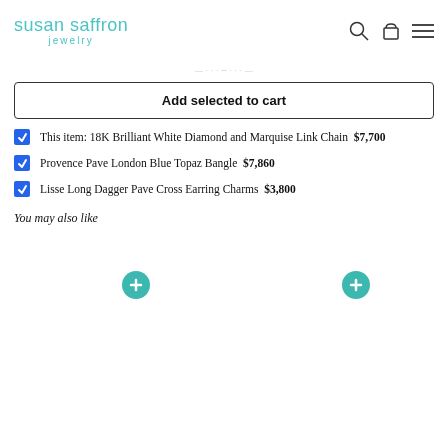susan saffron jewelry
Add selected to cart
This item: 18K Brilliant White Diamond and Marquise Link Chain  $7,700
Provence Pave London Blue Topaz Bangle  $7,860
Lisse Long Dagger Pave Cross Earring Charms  $3,800
You may also like
[Figure (other): Two product thumbnail slots with teal plus (+) buttons for adding items to cart]